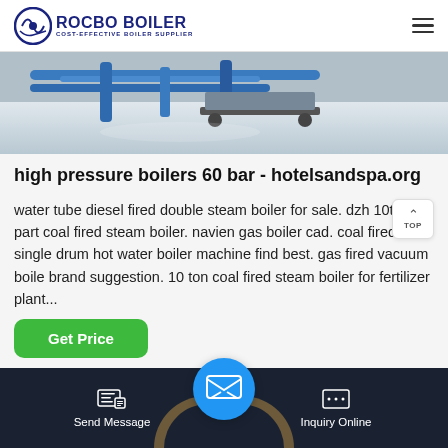ROCBO BOILER — COST-EFFECTIVE BOILER SUPPLIER
[Figure (photo): Industrial boiler pipes and equipment visible through a facility floor, with blue metallic piping visible in the background]
high pressure boilers 60 bar - hotelsandspa.org
water tube diesel fired double steam boiler for sale. dzh 10t boiler part coal fired steam boiler. navien gas boiler cad. coal fired single drum hot water boiler machine find best. gas fired vacuum boile brand suggestion. 10 ton coal fired steam boiler for fertilizer plant...
Send Message | Inquiry Online